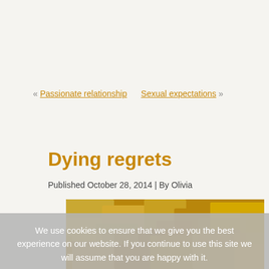« Passionate relationship    Sexual expectations »
Dying regrets
Published October 28, 2014 | By Olivia
[Figure (photo): Photo of fallen autumn leaves in shades of yellow, orange, and brown covering the ground.]
We use cookies to ensure that we give you the best experience on our website. If you continue to use this site we will assume that you are happy with it. Ok